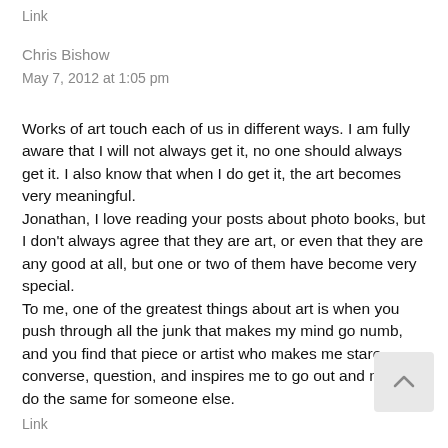Link
Chris Bishow
May 7, 2012 at 1:05 pm
Works of art touch each of us in different ways. I am fully aware that I will not always get it, no one should always get it. I also know that when I do get it, the art becomes very meaningful.
Jonathan, I love reading your posts about photo books, but I don't always agree that they are art, or even that they are any good at all, but one or two of them have become very special.
To me, one of the greatest things about art is when you push through all the junk that makes my mind go numb, and you find that piece or artist who makes me stare, converse, question, and inspires me to go out and maybe do the same for someone else.
Link